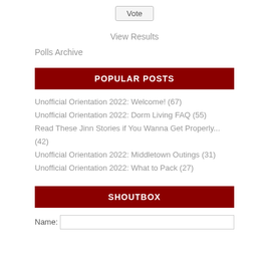Vote
View Results
Polls Archive
POPULAR POSTS
Unofficial Orientation 2022: Welcome! (67)
Unofficial Orientation 2022: Dorm Living FAQ (55)
Read These Jinn Stories if You Wanna Get Properly... (42)
Unofficial Orientation 2022: Middletown Outings (31)
Unofficial Orientation 2022: What to Pack (27)
SHOUTBOX
Name: